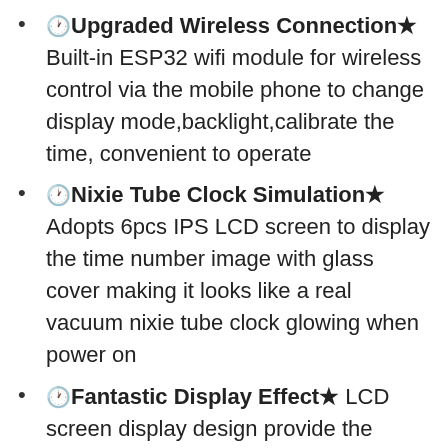🕐Upgraded Wireless Connection★ Built-in ESP32 wifi module for wireless control via the mobile phone to change display mode,backlight,calibrate the time, convenient to operate
🕐Nixie Tube Clock Simulation★ Adopts 6pcs IPS LCD screen to display the time number image with glass cover making it looks like a real vacuum nixie tube clock glowing when power on
🕐Fantastic Display Effect★ LCD screen display design provide the various number background display mode and also support import user picture to DIY your own display UI via the software with more funs just by your creativity
🕐RGB Background Lighting★ On the back of